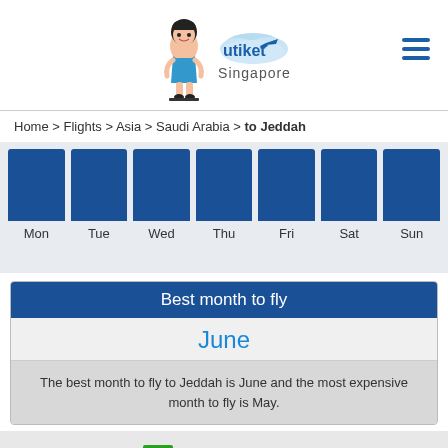[Figure (logo): Utiket Singapore logo with animated mascot girl and airplane icon]
Home > Flights > Asia > Saudi Arabia > to Jeddah
[Figure (bar-chart): Blue bar chart showing flight prices by day of week]
Best month to fly
June
The best month to fly to Jeddah is June and the most expensive month to fly is May.
[Figure (bar-chart): Green bar chart showing relative flight prices by month (Jan-Dec)]